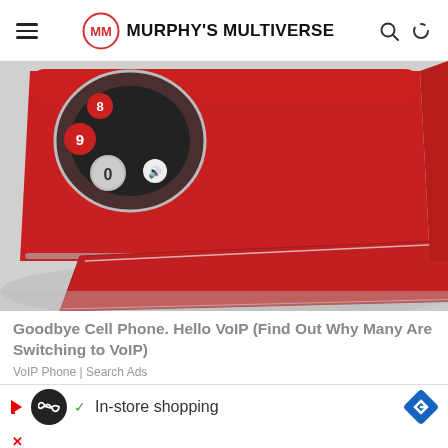Murphy's Multiverse
[Figure (photo): Close-up of a retro red rotary telephone with visible dial numbers 8, 9, 0 and chrome accents, showing the base at an angle on a light gray surface.]
Goodbye Cell Phone. Hello VoIP (Find Out Why Many Are Switching to VoIP)
VoIP Phone | Search Ads
[Figure (infographic): Advertisement bar showing a play icon, infinity loop circle icon, checkmark, 'In-store shopping' text, and a blue navigation/directions diamond icon.]